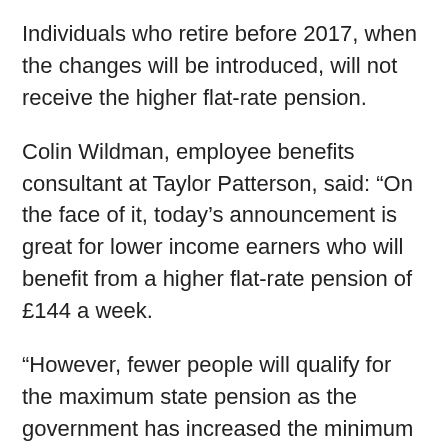Individuals who retire before 2017, when the changes will be introduced, will not receive the higher flat-rate pension.
Colin Wildman, employee benefits consultant at Taylor Patterson, said: “On the face of it, today’s announcement is great for lower income earners who will benefit from a higher flat-rate pension of £144 a week.
“However, fewer people will qualify for the maximum state pension as the government has increased the minimum National Insurance (NI) contribution period from 30 years to 35 years. There is also a minimum qualification period of ten years, so anyone with fewer than ten years of NI contributions, will not get a state